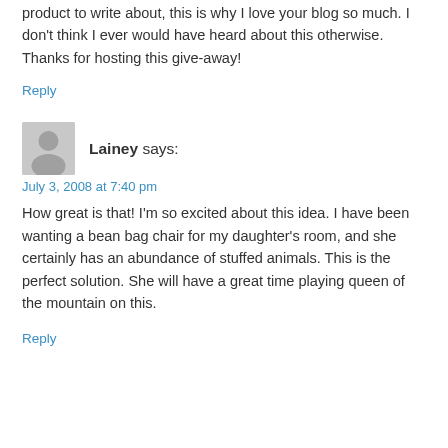product to write about, this is why I love your blog so much. I don't think I ever would have heard about this otherwise. Thanks for hosting this give-away!
Reply
[Figure (illustration): Generic user avatar - grey circle silhouette on grey square background]
Lainey says:
July 3, 2008 at 7:40 pm
How great is that! I'm so excited about this idea. I have been wanting a bean bag chair for my daughter's room, and she certainly has an abundance of stuffed animals. This is the perfect solution. She will have a great time playing queen of the mountain on this.
Reply